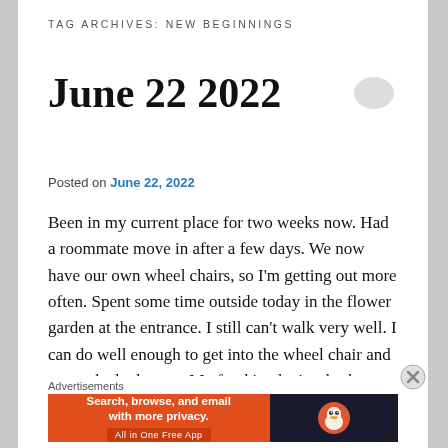TAG ARCHIVES: NEW BEGINNINGS
June 22 2022
Posted on June 22, 2022
Been in my current place for two weeks now. Had a roommate move in after a few days. We now have our own wheel chairs, so I'm getting out more often. Spent some time outside today in the flower garden at the entrance. I still can't walk very well. I can do well enough to get into the wheel chair and get to the bathroom. My food intake is a lot less than it was previously. That alone means I'm probably losing weight. I think covid is making a bit of a comeback as I've been tested twice just in the last week.
Advertisements
[Figure (screenshot): DuckDuckGo advertisement banner: orange section with text 'Search, browse, and email with more privacy. All in One Free App' and dark section with DuckDuckGo logo]